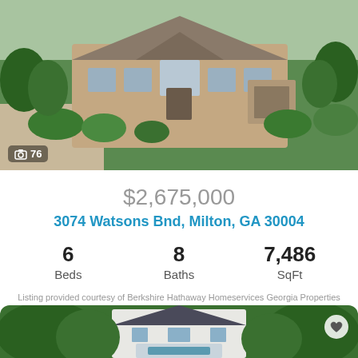[Figure (photo): Aerial/front view of large stone and brick luxury home with manicured landscaping, trees, and driveway. Photo count badge showing camera icon and 76.]
$2,675,000
3074 Watsons Bnd, Milton, GA 30004
6 Beds   8 Baths   7,486 SqFt
Listing provided courtesy of Berkshire Hathaway Homeservices Georgia Properties
[Figure (logo): FMLS IDX logo in green]
[Figure (photo): Aerial drone view of large white modern luxury home surrounded by green trees, with pool and outdoor living area visible.]